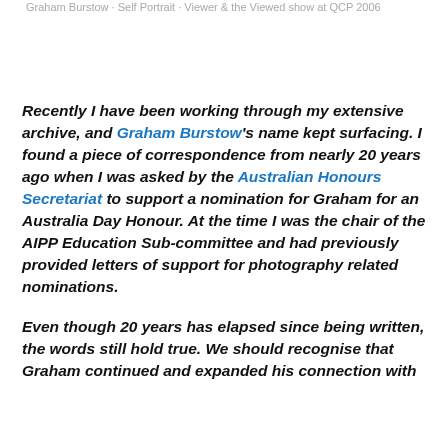Graham Burstow · Self Portrait · Viewer & the Viewed show at QCP 2006
Recently I have been working through my extensive archive, and Graham Burstow's name kept surfacing. I found a piece of correspondence from nearly 20 years ago when I was asked by the Australian Honours Secretariat to support a nomination for Graham for an Australia Day Honour. At the time I was the chair of the AIPP Education Sub-committee and had previously provided letters of support for photography related nominations.
Even though 20 years has elapsed since being written, the words still hold true. We should recognise that Graham continued and expanded his connection with